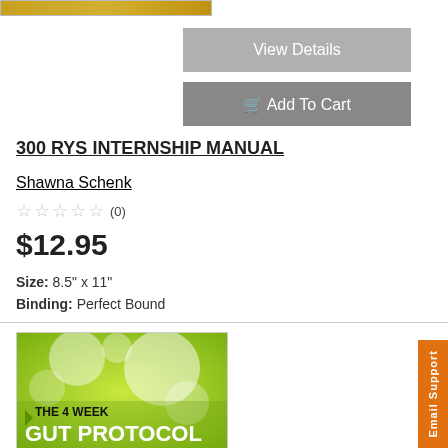[Figure (photo): Top portion of a book cover image, cropped at top]
View Details
Add To Cart
300 RYS INTERNSHIP MANUAL
Shawna Schenk
☆☆☆☆☆ (0)
$12.95
Size: 8.5" x 11"
Binding: Perfect Bound
[Figure (photo): Book cover for The 4 Week Gut Protocol with green bokeh background and white/black text]